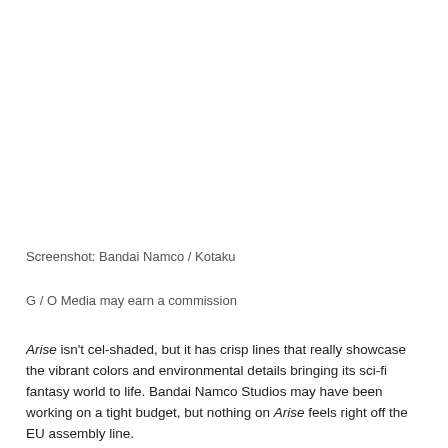Screenshot: Bandai Namco / Kotaku
G / O Media may earn a commission
Arise isn't cel-shaded, but it has crisp lines that really showcase the vibrant colors and environmental details bringing its sci-fi fantasy world to life. Bandai Namco Studios may have been working on a tight budget, but nothing on Arise feels right off the EU assembly line.